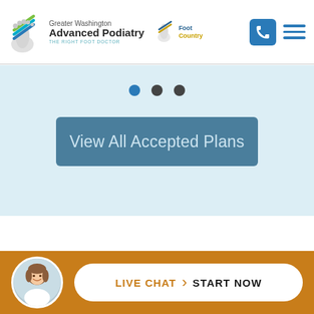[Figure (logo): Greater Washington Advanced Podiatry logo with stylized foot and colorful lines, tagline THE RIGHT FOOT DOCTOR]
[Figure (logo): Foot Country logo with stylized foot icon]
[Figure (illustration): Navigation icons: phone button (blue square) and hamburger menu (three blue lines)]
[Figure (illustration): Carousel dots: three dots, first blue (active), second and third dark gray]
[Figure (other): Button: View All Accepted Plans on blue-gray background]
[Figure (illustration): Live chat bar: gold background, circular avatar photo of smiling woman, white pill button with LIVE CHAT and START NOW text]